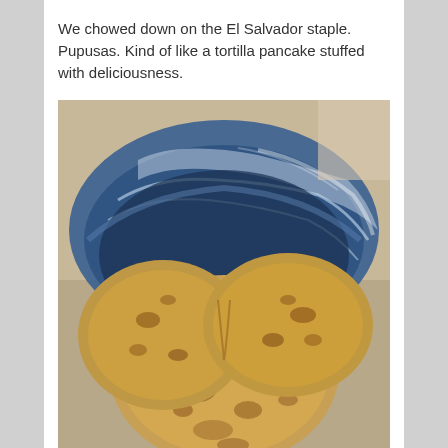We chowed down on the El Salvador staple. Pupusas. Kind of like a tortilla pancake stuffed with deliciousness.
[Figure (photo): A close-up photo of pupusas (thick El Salvadoran flatbreads) arranged on a blue plate partially wrapped in plastic wrap. Three round, golden-brown pupusas with charred spots are visible. In the background upper left, a purple plate can be seen.]